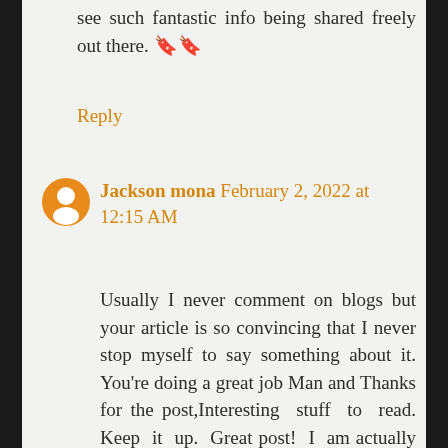see such fantastic info being shared freely out there. 🔖🔖
Reply
Jackson mona February 2, 2022 at 12:15 AM
Usually I never comment on blogs but your article is so convincing that I never stop myself to say something about it. You're doing a great job Man and Thanks for the post,Interesting stuff to read. Keep it up. Great post! I am actually getting ready to across this information, is very helpful my